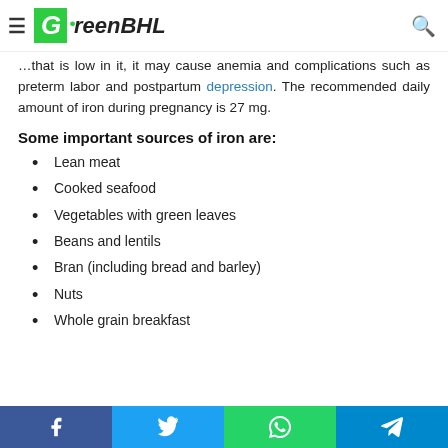GreenBHL
…that is low in it, it may cause anemia and complications such as preterm labor and postpartum depression. The recommended daily amount of iron during pregnancy is 27 mg.
Some important sources of iron are:
Lean meat
Cooked seafood
Vegetables with green leaves
Beans and lentils
Bran (including bread and barley)
Nuts
Whole grain breakfast
Facebook Twitter WhatsApp Telegram